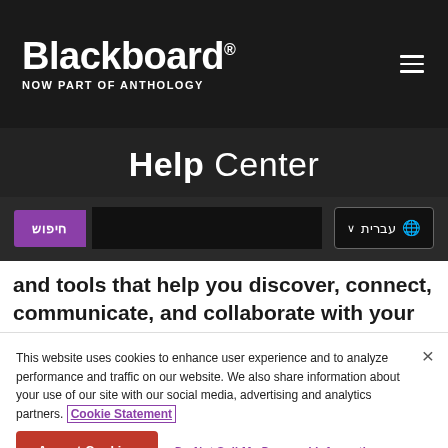Blackboard NOW PART OF ANTHOLOGY
Help Center
חיפוש   עברית
and tools that help you discover, connect, communicate, and collaborate with your
This website uses cookies to enhance user experience and to analyze performance and traffic on our website. We also share information about your use of our site with our social media, advertising and analytics partners. Cookie Statement
Accept Cookies   Do Not Sell My Personal Information